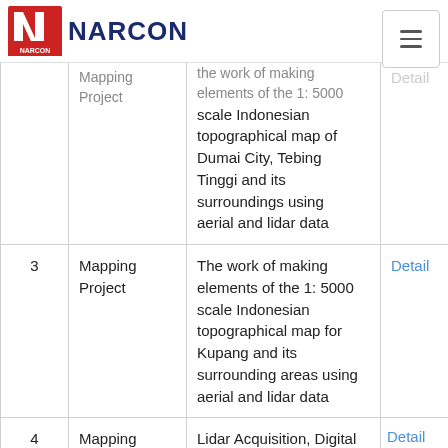NARCON
| No | Type | Description | Action |
| --- | --- | --- | --- |
|  | Mapping Project | ... the work of making elements of the 1: 5000 scale Indonesian topographical map of Dumai City, Tebing Tinggi and its surroundings using aerial and lidar data | Detail |
| 3 | Mapping Project | The work of making elements of the 1: 5000 scale Indonesian topographical map for Kupang and its surrounding areas using aerial and lidar data | Detail |
| 4 | Mapping Project | Lidar Acquisition, Digital Aerial Photography and ... | Detail |